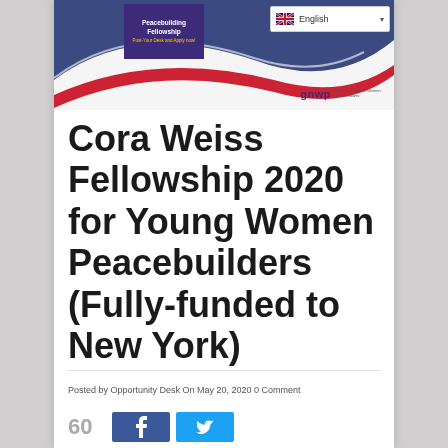[Figure (screenshot): Header banner with decorative swoosh lines in dark blue and red, a purple book element with 'Peacebuilding Fellowship' text, a language selector showing English with a UK flag, and the GNWP logo.]
Cora Weiss Fellowship 2020 for Young Women Peacebuilders (Fully-funded to New York)
Posted by Opportunity Desk On May 20, 2020 0 Comment
[Figure (infographic): Share bar at the bottom showing count 60, a Facebook share button (blue), and a Twitter share button (cyan).]